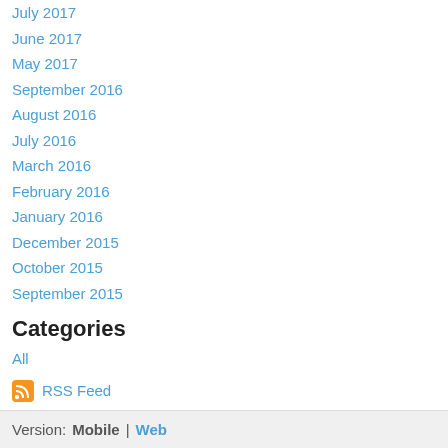July 2017
June 2017
May 2017
September 2016
August 2016
July 2016
March 2016
February 2016
January 2016
December 2015
October 2015
September 2015
Categories
All
RSS Feed
Version: Mobile | Web
Created with Weebly   Get the App